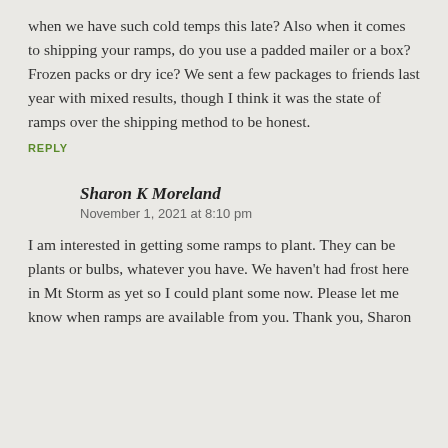when we have such cold temps this late? Also when it comes to shipping your ramps, do you use a padded mailer or a box? Frozen packs or dry ice? We sent a few packages to friends last year with mixed results, though I think it was the state of ramps over the shipping method to be honest.
REPLY
Sharon K Moreland
November 1, 2021 at 8:10 pm
I am interested in getting some ramps to plant. They can be plants or bulbs, whatever you have. We haven't had frost here in Mt Storm as yet so I could plant some now. Please let me know when ramps are available from you. Thank you, Sharon